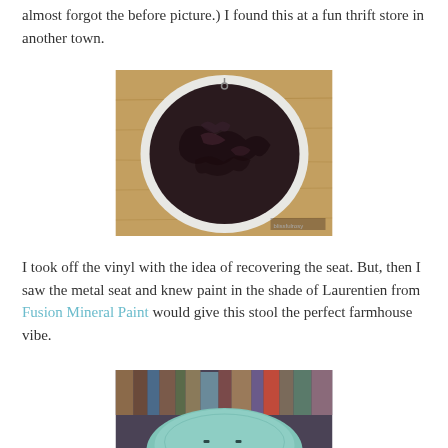almost forgot the before picture.) I found this at a fun thrift store in another town.
[Figure (photo): A round stool seat with damaged dark maroon/black crinkled vinyl covering, seen from above on a wooden surface. The underside of the metal seat pan is visible with white padding around the edge.]
I took off the vinyl with the idea of recovering the seat. But, then I saw the metal seat and knew paint in the shade of Laurentien from Fusion Mineral Paint would give this stool the perfect farmhouse vibe.
[Figure (photo): A round stool seat painted in a light teal/mint color (Laurentien from Fusion Mineral Paint), showing two bolt holes on the surface, with bookshelves visible in the background.]